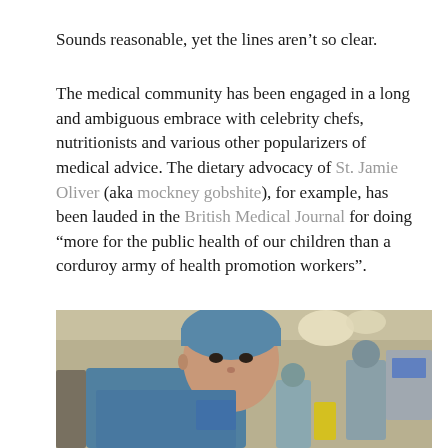Sounds reasonable, yet the lines aren’t so clear.
The medical community has been engaged in a long and ambiguous embrace with celebrity chefs, nutritionists and various other popularizers of medical advice. The dietary advocacy of St. Jamie Oliver (aka mockney gobshite), for example, has been lauded in the British Medical Journal for doing “more for the public health of our children than a corduroy army of health promotion workers”.
[Figure (photo): A surgeon in blue scrubs and surgical cap looks at the camera in an operating theatre, with other medical staff and surgical lights visible in the background.]